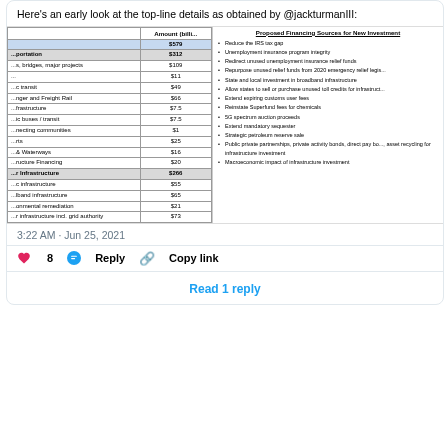Here's an early look at the top-line details as obtained by @jackturmanIII:
|  | Amount (billi... |
| --- | --- |
|  | $579 |
| ...portation | $312 |
| ...s, bridges, major projects | $109 |
| ... | $11 |
| ...c transit | $49 |
| ...nger and Freight Rail | $66 |
| ...frastructure | $7.5 |
| ...ic buses / transit | $7.5 |
| ...necting communities | $1 |
| ...rts | $25 |
| ...& Waterways | $16 |
| ...ructure Financing | $20 |
| ...r Infrastructure | $266 |
| ...c infrastructure | $55 |
| ...lband infrastructure | $65 |
| ...onmental remediation | $21 |
| ...r infrastructure incl. grid authority | $73 |
| ...rn Water Storage | $5 |
| ...ence | $47 |
...ending + baseline (over 5 years) = 5973B
...ending + baseline (over 8 years) = 51,209B
[Figure (infographic): Proposed Financing Sources for New Investment list: Reduce the IRS tax gap; Unemployment insurance program integrity; Redirect unused unemployment insurance relief funds; Repurpose unused relief funds from 2020 emergency relief legis...; State and local investment in broadband infrastructure; Allow states to sell or purchase unused toll credits for infrastruct...; Extend expiring customs user fees; Reinstate Superfund fees for chemicals; 5G spectrum auction proceeds; Extend mandatory sequester; Strategic petroleum reserve sale; Public private partnerships, private activity bonds, direct pay bo..., asset recycling for infrastructure investment; Macroeconomic impact of infrastructure investment]
3:22 AM · Jun 25, 2021
❤ 8   Reply   Copy link
Read 1 reply